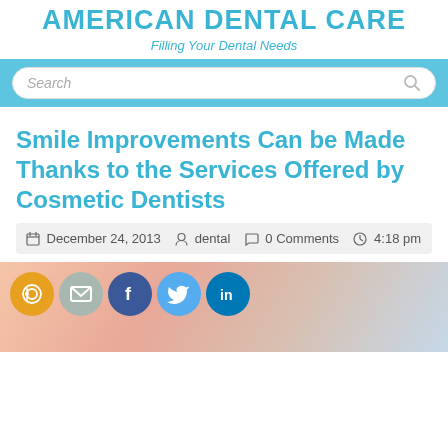AMERICAN DENTAL CARE
Filling Your Dental Needs
[Figure (screenshot): Search bar with rounded rectangle input and magnifier icon on a light blue background]
Smile Improvements Can be Made Thanks to the Services Offered by Cosmetic Dentists
December 24, 2013   dental   0 Comments   4:18 pm
[Figure (photo): Close-up of a person's lips and nose with social media share icons (RSS, email, Facebook, Twitter, LinkedIn) overlaid at top-left]